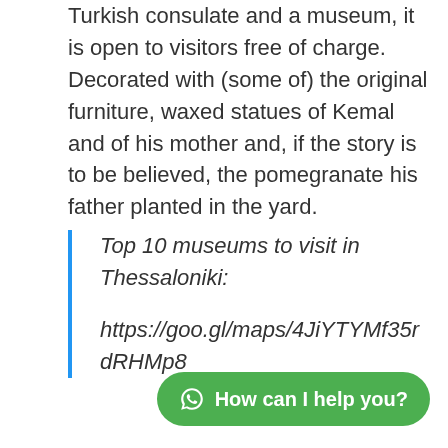Kemal Ataturk. Currently serving as the Turkish consulate and a museum, it is open to visitors free of charge. Decorated with (some of) the original furniture, waxed statues of Kemal and of his mother and, if the story is to be believed, the pomegranate his father planted in the yard.
Top 10 museums to visit in Thessaloniki:
https://goo.gl/maps/4JiYTYMf35rdRHMp8
How can I help you?